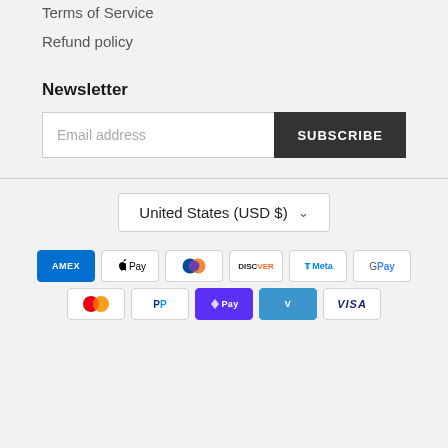Terms of Service
Refund policy
Newsletter
Email address  SUBSCRIBE
United States (USD $)
[Figure (other): Payment method icons: American Express, Apple Pay, Diners Club, Discover, Meta Pay, Google Pay, Mastercard, PayPal, Shop Pay, Venmo, Visa]